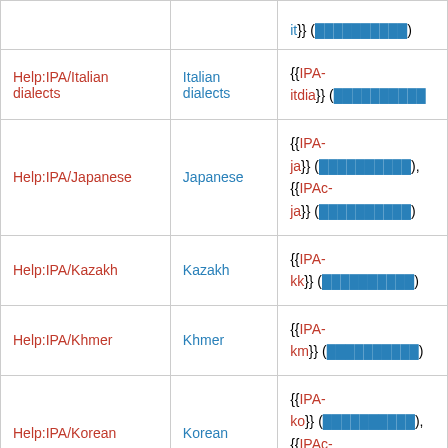| Help page | Language | Templates |
| --- | --- | --- |
|  |  | it}} (██████████) |
| Help:IPA/Italian dialects | Italian dialects | {{IPA-itdia}} (██████████ |
| Help:IPA/Japanese | Japanese | {{IPA-ja}} (██████████), {{IPAc-ja}} (██████████) |
| Help:IPA/Kazakh | Kazakh | {{IPA-kk}} (██████████) |
| Help:IPA/Khmer | Khmer | {{IPA-km}} (██████████) |
| Help:IPA/Korean | Korean | {{IPA-ko}} (██████████), {{IPAc-ko}} (██████████) |
|  |  | {{IPA- |